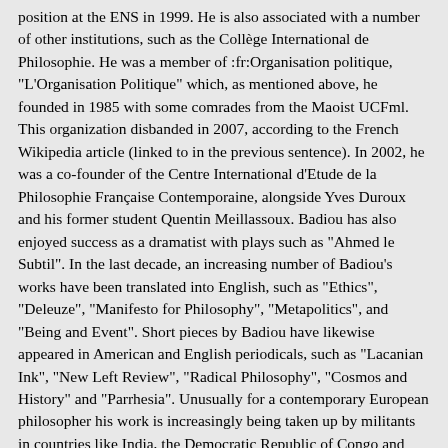position at the ENS in 1999. He is also associated with a number of other institutions, such as the Collège International de Philosophie. He was a member of :fr:Organisation politique, "L'Organisation Politique" which, as mentioned above, he founded in 1985 with some comrades from the Maoist UCFml. This organization disbanded in 2007, according to the French Wikipedia article (linked to in the previous sentence). In 2002, he was a co-founder of the Centre International d'Etude de la Philosophie Française Contemporaine, alongside Yves Duroux and his former student Quentin Meillassoux. Badiou has also enjoyed success as a dramatist with plays such as "Ahmed le Subtil". In the last decade, an increasing number of Badiou's works have been translated into English, such as "Ethics", "Deleuze", "Manifesto for Philosophy", "Metapolitics", and "Being and Event". Short pieces by Badiou have likewise appeared in American and English periodicals, such as "Lacanian Ink", "New Left Review", "Radical Philosophy", "Cosmos and History" and "Parrhesia". Unusually for a contemporary European philosopher his work is increasingly being taken up by militants in countries like India, the Democratic Republic of Congo and South Africa. In 2014–15, Badiou had the role of Honorary President at The Global Center for Advanced